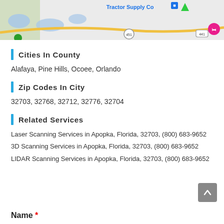[Figure (map): Map showing area around Apopka, Florida with roads, Tractor Supply Co store, route markers 451 and 441 visible]
Cities In County
Alafaya, Pine Hills, Ocoee, Orlando
Zip Codes In City
32703, 32768, 32712, 32776, 32704
Related Services
Laser Scanning Services in Apopka, Florida, 32703, (800) 683-9652
3D Scanning Services in Apopka, Florida, 32703, (800) 683-9652
LIDAR Scanning Services in Apopka, Florida, 32703, (800) 683-9652
Name *